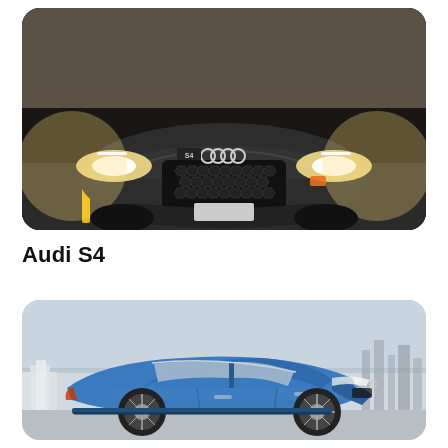[Figure (photo): Front view of a dark grey Audi S4 driving on a road with bright headlights on, against a rocky background]
Audi S4
[Figure (photo): Side profile of a blue Audi sedan (Audi S5 or similar) parked near a coastal area with city skyline in background]